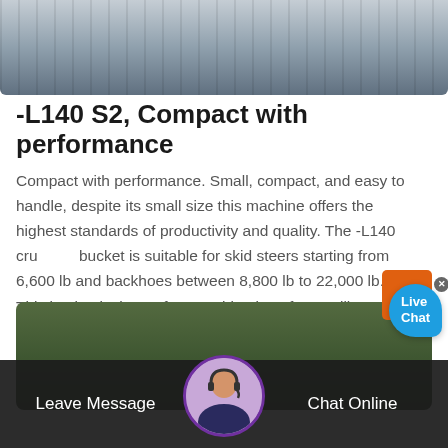[Figure (photo): Top portion of an industrial machine or construction equipment, partially visible, outdoor setting with grey/blue tones]
-L140 S2, Compact with performance
Compact with performance. Small, compact, and easy to handle, despite its small size this machine offers the highest standards of productivity and quality. The -L140 crushing bucket is suitable for skid steers starting from 6,600 lb and backhoes between 8,800 lb to 22,000 lb. This bucket is the perfect combination of versatility, performance ...
[Figure (photo): Aerial or distant view of green forested/vegetation area, partially obscured]
[Figure (screenshot): Live Chat bubble overlay with blue speech bubble showing 'Live Chat' text and close X button]
[Figure (photo): Chat bar at bottom with Leave Message on left, agent avatar in center, Chat Online on right, dark background]